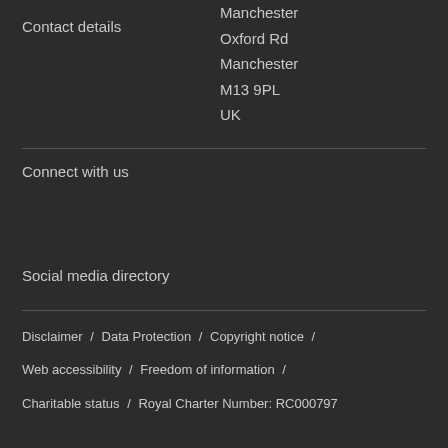Contact details
Manchester
Oxford Rd
Manchester
M13 9PL
UK
Connect with us
Social media directory
Disclaimer / Data Protection / Copyright notice / Web accessibility / Freedom of information / Charitable status / Royal Charter Number: RC000797